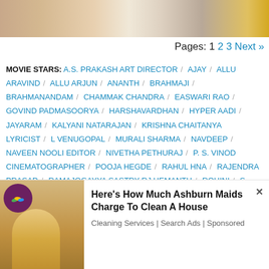[Figure (photo): Website header image with blurred faces/photos at top]
Pages: 1 2 3 Next »
MOVIE STARS: A.S. PRAKASH ART DIRECTOR / AJAY / ALLU ARAVIND / ALLU ARJUN / ANANTH / BRAHMAJI / BRAHMANANDAM / CHAMMAK CHANDRA / EASWARI RAO / GOVIND PADMASOORYA / HARSHAVARDHAN / HYPER AADI / JAYARAM / KALYANI NATARAJAN / KRISHNA CHAITANYA LYRICIST / L VENUGOPAL / MURALI SHARMA / NAVDEEP / NAVEEN NOOLI EDITOR / NIVETHA PETHURAJ / P. S. VINOD CINEMATOGRAPHER / POOJA HEGDE / RAHUL ... HNA / RAJENDRA PRASAD / RAMAJOGAYYA SASTRY / RJ HEMANTH / ROHINI / S RADHA KRISHNA / S
[Figure (photo): Advertisement showing a woman cleaning a floor, with logo overlay]
Here's How Much Ashburn Maids Charge To Clean A House
Cleaning Services | Search Ads | Sponsored